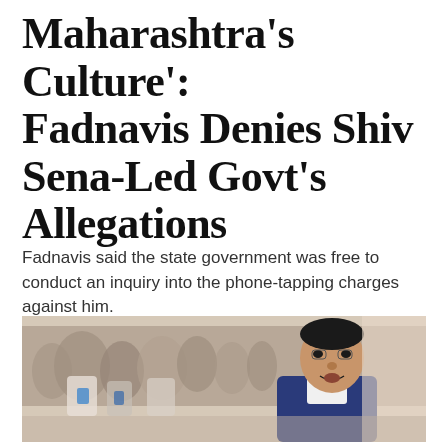Maharashtra's Culture': Fadnavis Denies Shiv Sena-Led Govt's Allegations
Fadnavis said the state government was free to conduct an inquiry into the phone-tapping charges against him.
[Figure (photo): Photo of Devendra Fadnavis speaking, wearing a blue vest over white shirt, with a crowd of people in the background]